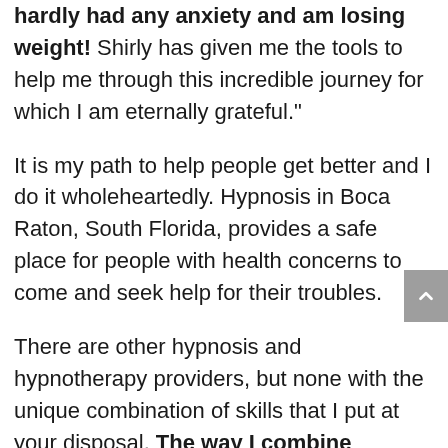hardly had any anxiety and am losing weight! Shirly has given me the tools to help me through this incredible journey for which I am eternally grateful."
It is my path to help people get better and I do it wholeheartedly. Hypnosis in Boca Raton, South Florida, provides a safe place for people with health concerns to come and seek help for their troubles.
There are other hypnosis and hypnotherapy providers, but none with the unique combination of skills that I put at your disposal. The way I combine hypnosis, behavior, nutrition, and homeopathy is unique to my practice and you will observe the results in the profound changes occurring in your